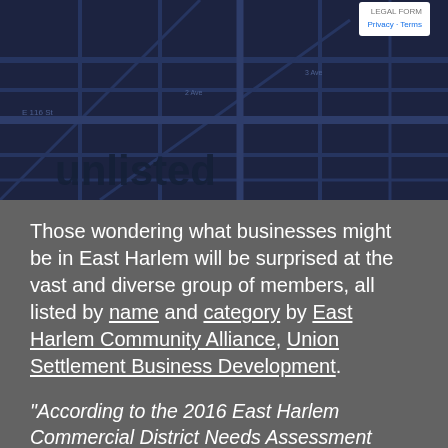[Figure (map): A dark navy Google Maps screenshot showing road/street map of East Harlem area, with a white popup card in upper right showing 'LEGAL FORM' and 'Privacy · Terms' links]
Those wondering what businesses might be in East Harlem will be surprised at the vast and diverse group of members, all listed by name and category by East Harlem Community Alliance, Union Settlement Business Development.
"According to the 2016 East Harlem Commercial District Needs Assessment published by the NYC Department of Small Business Services (SBS), over $804 million is spent outside the neighborhood each year. Institutional buyers purchase in such large quantities and frequency that even a slight change in